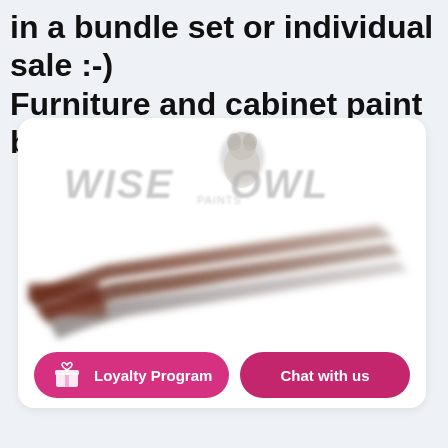in a bundle set or individual sale :-) Furniture and cabinet paint brushes
[Figure (photo): Wise Owl paint brushes product image with brand logo and two call-to-action buttons: Loyalty Program and Chat with us]
Loyalty Program
Chat with us